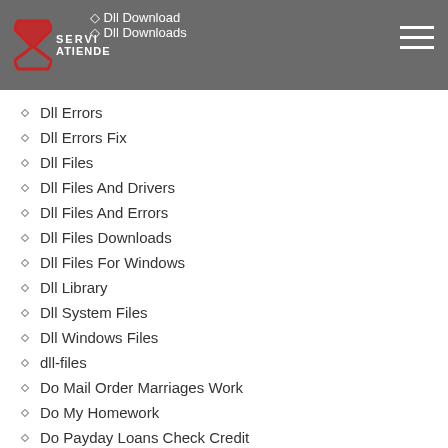Dll Download | Dll Downloads
Dll Errors
Dll Errors Fix
Dll Files
Dll Files And Drivers
Dll Files And Errors
Dll Files Downloads
Dll Files For Windows
Dll Library
Dll System Files
Dll Windows Files
dll-files
Do Mail Order Marriages Work
Do My Homework
Do Payday Loans Check Credit
dollar financial group loans payday loans
dollar loan center payday loans online